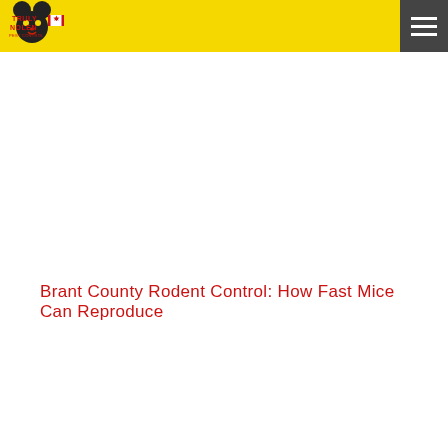[Figure (logo): Truly Nolen Pest Control logo with mouse ears, face, and Canadian maple leaf flag, on yellow background header bar]
Brant County Rodent Control: How Fast Mice Can Reproduce